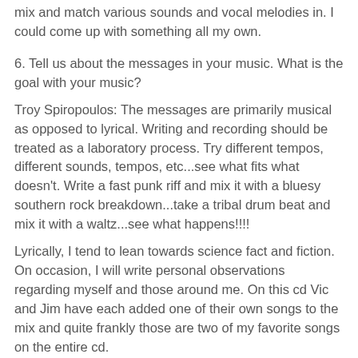mix and match various sounds and vocal melodies in. I could come up with something all my own.
6. Tell us about the messages in your music. What is the goal with your music?
Troy Spiropoulos: The messages are primarily musical as opposed to lyrical. Writing and recording should be treated as a laboratory process. Try different tempos, different sounds, tempos, etc...see what fits what doesn't. Write a fast punk riff and mix it with a bluesy southern rock breakdown...take a tribal drum beat and mix it with a waltz...see what happens!!!!
Lyrically, I tend to lean towards science fact and fiction. On occasion, I will write personal observations regarding myself and those around me. On this cd Vic and Jim have each added one of their own songs to the mix and quite frankly those are two of my favorite songs on the entire cd.
7. You guys have built a big fan base and it continues to grow within the music scene. Tell us about your fans back home and how they've shaped you as a band. What have